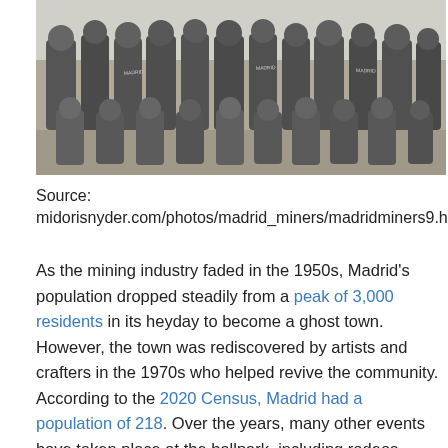[Figure (photo): Black and white group photo of baseball players in uniforms labeled 'Madrid', posing together outdoors.]
Source:
midorisnyder.com/photos/madrid_miners/madridminers9.ht
As the mining industry faded in the 1950s, Madrid's population dropped steadily from a peak of 3,000 residents in its heyday to become a ghost town. However, the town was rediscovered by artists and crafters in the 1970s who helped revive the community. According to the 2020 Census, Madrid had a population of 218. Over the years, many other events have taken place at the ballpark, including rodeos. More recently, holiday softball games/tournaments have been played at the ballpark.